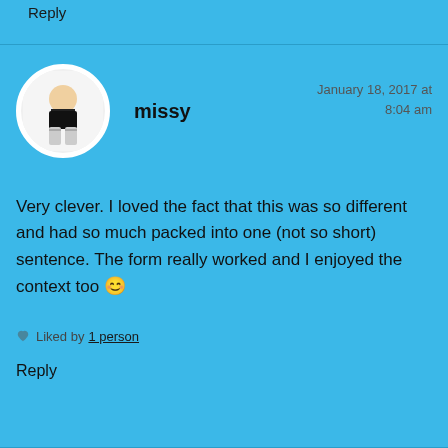Reply
missy
January 18, 2017 at 8:04 am
Very clever. I loved the fact that this was so different and had so much packed into one (not so short) sentence. The form really worked and I enjoyed the context too 😊
Liked by 1 person
Reply